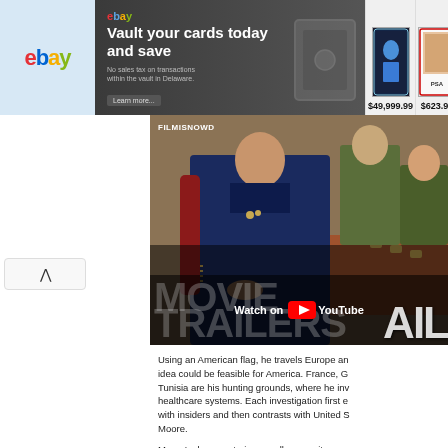[Figure (photo): eBay advertisement banner: left section light blue with eBay logo, middle dark section with text 'Vault your cards today and save / No sales tax on transactions within the vault in Delaware. Learn more.', right section showing two graded trading cards with prices $49,999.99 and $623.99]
[Figure (screenshot): Ad close/controls: X button and play triangle icon]
[Figure (screenshot): Scroll-up caret button on left sidebar]
[Figure (screenshot): Video thumbnail showing military officer in dress uniform seated at table with other officers, overlaid with FilmsisNow Movie Trailers branding and 'Watch on YouTube' button]
Using an American flag, he travels Europe and to show that idea could be feasible for America. France, G Tunisia are his hunting grounds, where he inv healthcare systems. Each investigation first e with insiders and then contrasts with United S Moore.
Moore's documentaries usually are quite one perspective that he refers to as "picking the f makes it easier to roll with his "worldwide" sc